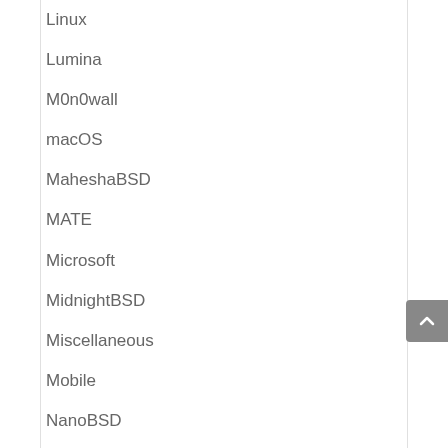Linux
Lumina
M0n0wall
macOS
MaheshaBSD
MATE
Microsoft
MidnightBSD
Miscellaneous
Mobile
NanoBSD
NeoKylin
NetBSD
Netflix
Network